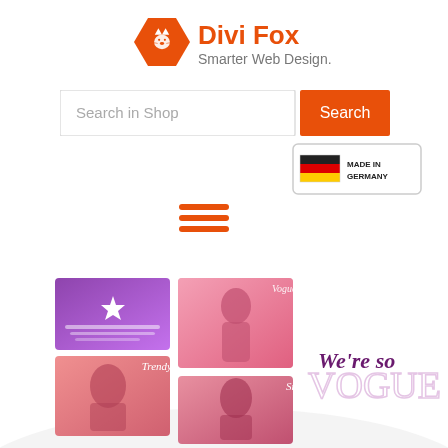[Figure (logo): Divi Fox logo with orange hexagon fox icon and text 'Divi Fox Smarter Web Design.']
[Figure (screenshot): Search bar with placeholder 'Search in Shop' and orange Search button]
[Figure (other): Made in Germany badge with German flag]
[Figure (other): Hamburger menu icon (three orange horizontal lines)]
[Figure (screenshot): Fashion website screenshot showing four image tiles (purple star card, Vogue34, Trendy, Snappy fashion photos) and text 'We're so VOGUE']